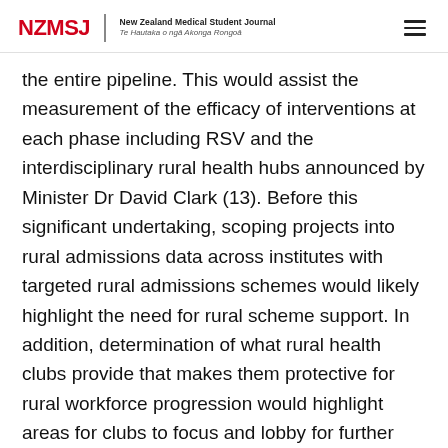NZMSJ | New Zealand Medical Student Journal Te Hautaka o ngā Akonga Rongoā
the entire pipeline. This would assist the measurement of the efficacy of interventions at each phase including RSV and the interdisciplinary rural health hubs announced by Minister Dr David Clark (13). Before this significant undertaking, scoping projects into rural admissions data across institutes with targeted rural admissions schemes would likely highlight the need for rural scheme support. In addition, determination of what rural health clubs provide that makes them protective for rural workforce progression would highlight areas for clubs to focus and lobby for further funding.
The significant momentum in the support for rural